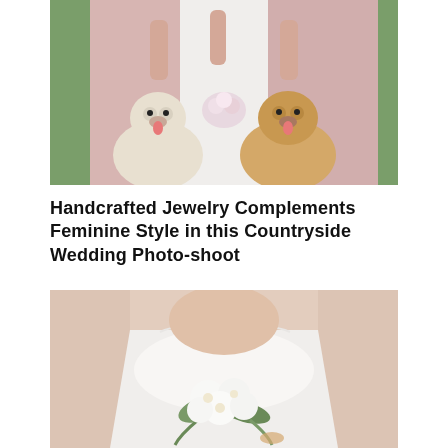[Figure (photo): Two women in pink and white bridesmaid/wedding dresses standing outdoors with two large fluffy golden doodle dogs sitting in front of them on a path, green grass in background.]
Handcrafted Jewelry Complements Feminine Style in this Countryside Wedding Photo-shoot
[Figure (photo): Close-up of a bride in a white strapless wedding gown holding a white floral bouquet with green leaves, blurred light pink/beige background.]